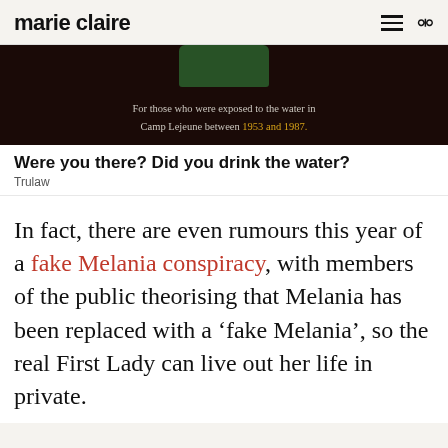marie claire
[Figure (photo): Dark advertisement banner with a green jar at top center and text: 'For those who were exposed to the water in Camp Lejeune between 1953 and 1987.' with years highlighted in gold.]
Were you there? Did you drink the water?
Trulaw
In fact, there are even rumours this year of a fake Melania conspiracy, with members of the public theorising that Melania has been replaced with a ‘fake Melania’, so the real First Lady can live out her life in private.